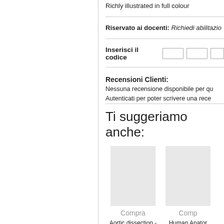Richly illustrated in full colour
Riservato ai docenti: Richiedi abilitazio...
Inserisci il codice [code boxes]
Recensioni Clienti:
Nessuna recensione disponibile per qu...
Autenticati per poter scrivere una rece...
Ti suggeriamo anche:
Compra
Aortic dissection - Digital Edition
€ 50,99 invece di
€ 59,99
Comp...
Human Anator... Multimedia... Interactive Atl...